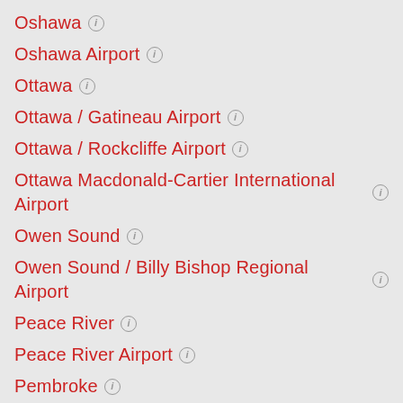Oshawa
Oshawa Airport
Ottawa
Ottawa / Gatineau Airport
Ottawa / Rockcliffe Airport
Ottawa Macdonald-Cartier International Airport
Owen Sound
Owen Sound / Billy Bishop Regional Airport
Peace River
Peace River Airport
Pembroke
Penticton Airport
Perth
Peterborough
Peterborough Airport